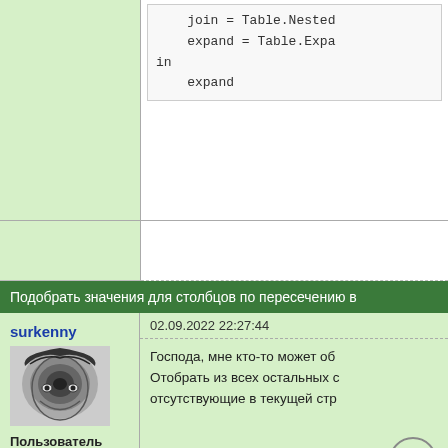join = Table.NestedJoin
    expand = Table.Expand
in
    expand
Подобрать значения для столбцов по пересечению в
surkenny
[Figure (photo): Avatar image: black and white spiral/surreal illustration]
Пользователь
Сообщений: 1744
Регистрация:
13.06.2014
02.09.2022 22:27:44
Господа, мне кто-то может об
Отобрать из всех остальных с
отсутствующие в текущей стр